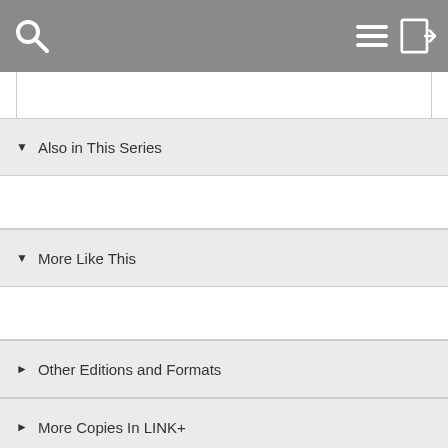[Figure (screenshot): Mobile library app navigation bar with search icon (left) and hamburger menu + login icons (right) on grey background]
▼ Also in This Series
▼ More Like This
► Other Editions and Formats
► More Copies In LINK+
► Subjects
► More Details
► Published Reviews
► Reviews from GoodReads
► Citations